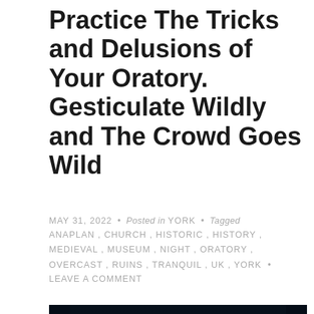Practice The Tricks and Delusions of Your Oratory. Gesticulate Wildly and The Crowd Goes Wild
MAY 31, 2022 • Posted in YORK • Tagged ANAPLAN, CHURCH, HISTORIC, HISTORY, MEDIEVAL, MUSEUM, NIGHT, ORATORY, OVERCAST, RUINS, TRANQUIL, UK, YORK • LEAVE A COMMENT
[Figure (photo): Dark photograph of a medieval church or cathedral doorway, showing an ornate arched tympanum with carved stone sculptures of religious figures under an elaborate arch, photographed at night or in low light with a dark blue-grey tone.]